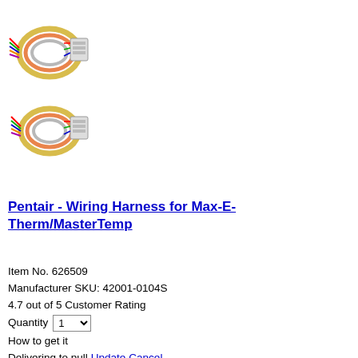[Figure (photo): Two wire harness product images stacked vertically, each showing a coiled multicolored wire harness with a white rectangular connector]
Pentair - Wiring Harness for Max-E-Therm/MasterTemp
Item No. 626509
Manufacturer SKU: 42001-0104S
4.7 out of 5 Customer Rating
Quantity 1
How to get it
Delivering to pull Update Cancel